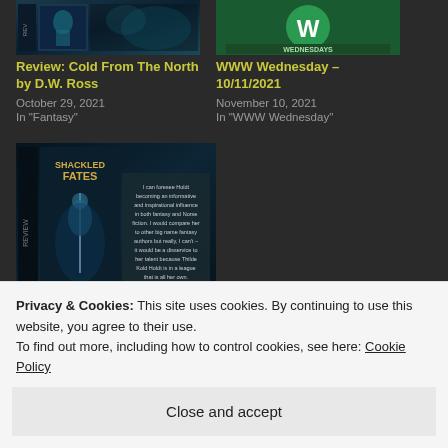[Figure (photo): Book cover image for 'Cold From The North by D.W. Ross' - dark fantasy cover]
Review: Cold From The North by D.W. Ross
October 29, 2021
In "Fantasy"
[Figure (photo): WWW Wednesday graphic with green 'W' logo]
WWW Wednesday – 10/11/2021
November 10, 2021
In "WWW Wednesday"
[Figure (photo): Book review cover for 'Shackled Fates (The Hanged God #2) by Thilde Kold Holdt' - dark fantasy cover with review text overlay]
REVIEW- Shackled Fates (The Hanged God #2) by Thilde Kold Holdt
March 10, 2022
Privacy & Cookies: This site uses cookies. By continuing to use this website, you agree to their use.
To find out more, including how to control cookies, see here: Cookie Policy
Close and accept